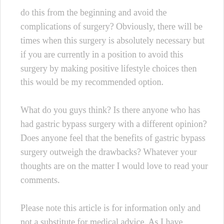do this from the beginning and avoid the complications of surgery? Obviously, there will be times when this surgery is absolutely necessary but if you are currently in a position to avoid this surgery by making positive lifestyle choices then this would be my recommended option.
What do you guys think? Is there anyone who has had gastric bypass surgery with a different opinion? Does anyone feel that the benefits of gastric bypass surgery outweigh the drawbacks? Whatever your thoughts are on the matter I would love to read your comments.
Please note this article is for information only and not a substitute for medical advice. As I have already mentioned you should consult your doctor before considering surgery of any kind. They will be able to provide you with qualified